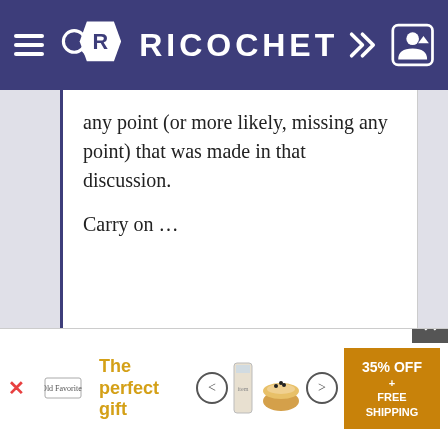RICOCHET
any point (or more likely, missing any point) that was made in that discussion.
Carry on …
[Figure (screenshot): Advertisement banner: 'The perfect gift' with food product image and '35% OFF + FREE SHIPPING' offer]